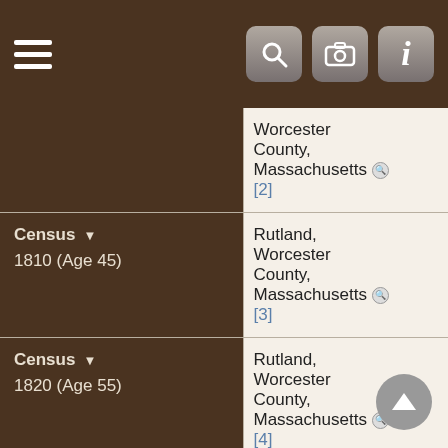Menu | Search | Camera | Info
| Type | Date | Location |
| --- | --- | --- |
| Census |  | Worcester County, Massachusetts [2] |
| Census | 1810 (Age 45) | Rutland, Worcester County, Massachusetts [3] |
| Census | 1820 (Age 55) | Rutland, Worcester County, Massachusetts [4] |
| Census | 1830 (Age 65) | Rutland, Worcester County, Massachusetts [5] |
| Census | 1840 (Age 75) | Rutland, Worcester County, Massachusetts [6] |